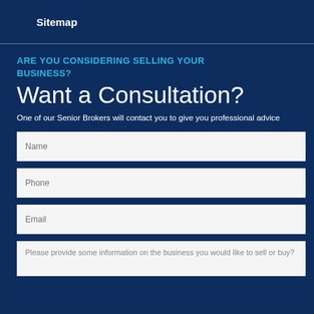Sitemap
ARE YOU CONSIDERING SELLING YOUR BUSINESS?
Want a Consultation?
One of our Senior Brokers will contact you to give you professional advice
[Figure (screenshot): Web form with input fields for Name, Phone, Email, and a textarea asking 'Please provide some information on the business you would like to sell or buy?']